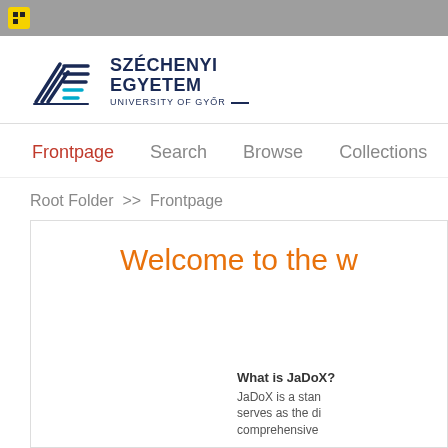[Figure (screenshot): Browser tab bar with grey background and yellow-square favicon icon]
[Figure (logo): Széchenyi Egyetem – University of Győr logo with stylized book/lines icon and dark navy text]
Frontpage   Search   Browse   Collections   Help   Record
Root Folder  >>  Frontpage
Welcome to the w
What is JaDoX?
JaDoX is a stan serves as the di comprehensive